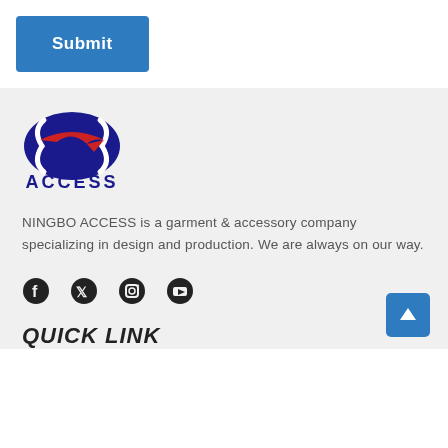Submit
[Figure (logo): ACCESS company logo: dark blue oval with white curved lines, red arrow swoosh, and text ACCESS in bold dark blue letters below]
NINGBO ACCESS is a garment & accessory company specializing in design and production. We are always on our way.
[Figure (other): Social media icons: Facebook, Twitter, Instagram, YouTube]
QUICK LINK